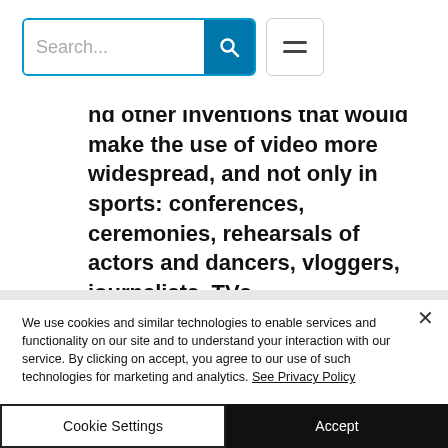[Figure (screenshot): Website header with a search bar (placeholder text 'Search...', teal search button with magnifier icon) and a hamburger menu button]
nd other inventions that would make the use of video more widespread, and not only in sports: conferences, ceremonies, rehearsals of actors and dancers, vloggers, journalists, TVs...
We use cookies and similar technologies to enable services and functionality on our site and to understand your interaction with our service. By clicking on accept, you agree to our use of such technologies for marketing and analytics. See Privacy Policy
Cookie Settings
Accept